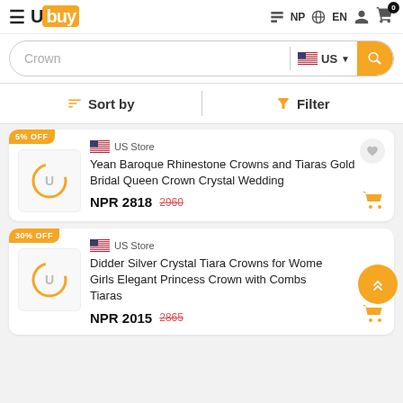Ubuy NP EN - navigation header with cart (0 items)
Crown - search query in US store
Sort by | Filter
[Figure (screenshot): Product card 1: 5% OFF - US Store - Yean Baroque Rhinestone Crowns and Tiaras Gold Bridal Queen Crown Crystal Wedding - NPR 2818 (was 2960)]
[Figure (screenshot): Product card 2: 30% OFF - US Store - Didder Silver Crystal Tiara Crowns for Women Girls Elegant Princess Crown with Combs Tiaras - NPR 2015 (was 2865)]